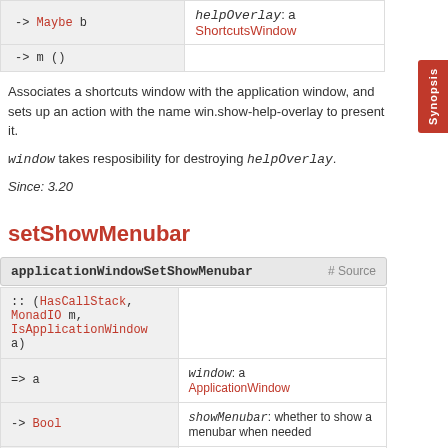| -> Maybe b | helpOverlay: a ShortcutsWindow |
| -> m () |  |
Associates a shortcuts window with the application window, and sets up an action with the name win.show-help-overlay to present it.
window takes resposibility for destroying helpOverlay.
Since: 3.20
setShowMenubar
| applicationWindowSetShowMenubar | # Source |
| --- | --- |
| :: (HasCallStack, MonadIO m, IsApplicationWindow a) |  |
| => a | window: a ApplicationWindow |
| -> Bool | showMenubar: whether to show a menubar when needed |
| -> m () |  |